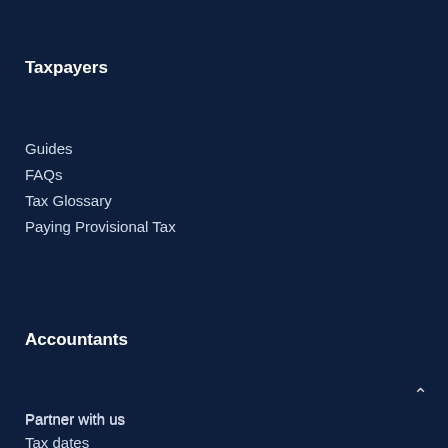Taxpayers
Guides
FAQs
Tax Glossary
Paying Provisional Tax
Accountants
Partner with us
Tax dates
Support